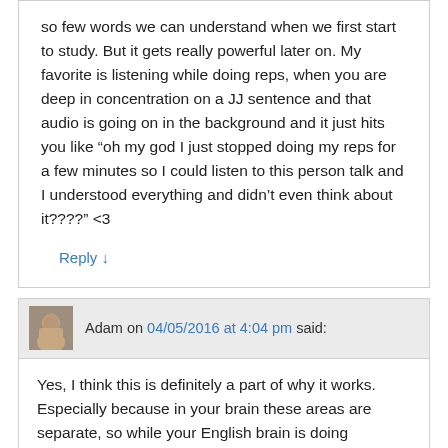so few words we can understand when we first start to study. But it gets really powerful later on. My favorite is listening while doing reps, when you are deep in concentration on a JJ sentence and that audio is going on in the background and it just hits you like “oh my god I just stopped doing my reps for a few minutes so I could listen to this person talk and I understood everything and didn’t even think about it????” <3
Reply ↓
Adam on 04/05/2016 at 4:04 pm said:
Yes, I think this is definitely a part of why it works. Especially because in your brain these areas are separate, so while your English brain is doing something, and you are listening to Japanese in the